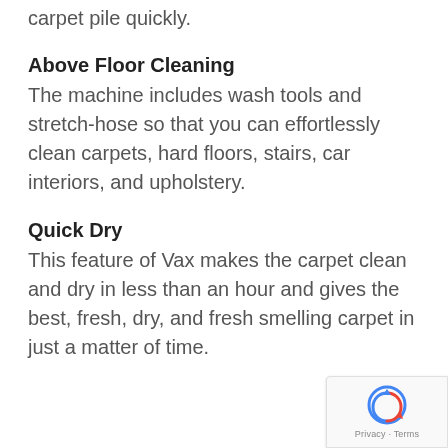carpet pile quickly.
Above Floor Cleaning
The machine includes wash tools and stretch-hose so that you can effortlessly clean carpets, hard floors, stairs, car interiors, and upholstery.
Quick Dry
This feature of Vax makes the carpet clean and dry in less than an hour and gives the best, fresh, dry, and fresh smelling carpet in just a matter of time.
[Figure (logo): Google reCAPTCHA badge with Privacy and Terms links]